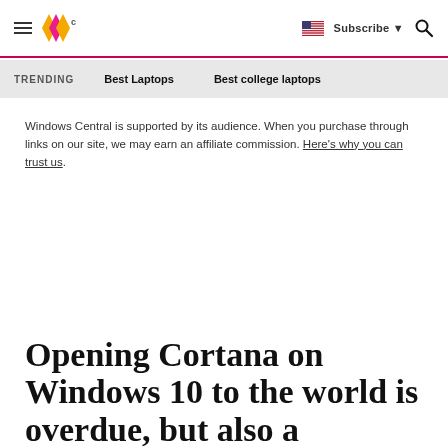Windows Central — Subscribe — Search
TRENDING   Best Laptops   Best college laptops
Windows Central is supported by its audience. When you purchase through links on our site, we may earn an affiliate commission. Here's why you can trust us.
Opening Cortana on Windows 10 to the world is overdue, but also a